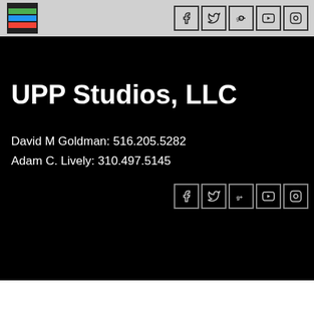[Figure (logo): UPP Studios logo: colored horizontal stripes (green, blue, red) on dark background in top-left header]
[Figure (infographic): Social media icons row at top right: Facebook, Twitter, Google+, YouTube, Instagram]
UPP Studios, LLC
David M Goldman: 516.205.5282
Adam C. Lively: 310.497.5145
[Figure (infographic): Social media icons row at mid right on black background: Facebook, Twitter, Google+, YouTube, Instagram]